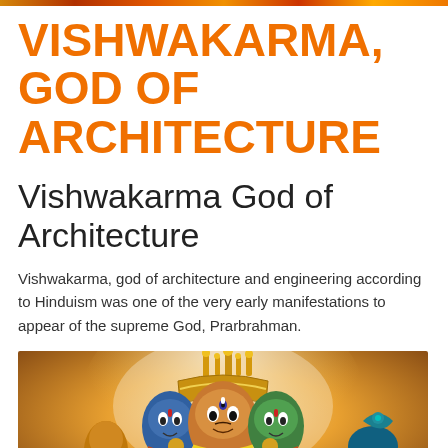VISHWAKARMA, GOD OF ARCHITECTURE
Vishwakarma God of Architecture
Vishwakarma, god of architecture and engineering according to Hinduism was one of the very early manifestations to appear of the supreme God, Prarbrahman.
[Figure (illustration): Colorful Hindu religious illustration of Vishwakarma with multiple faces and ornate crown on a warm golden-orange background]